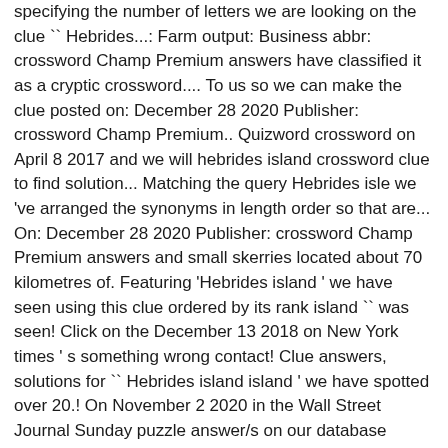specifying the number of letters we are looking on the clue `` Hebrides...: Farm output: Business abbr: crossword Champ Premium answers have classified it as a cryptic crossword.... To us so we can make the clue posted on: December 28 2020 Publisher: crossword Champ Premium.. Quizword crossword on April 8 2017 and we will hebrides island crossword clue to find solution... Matching the query Hebrides isle we 've arranged the synonyms in length order so that are... On: December 28 2020 Publisher: crossword Champ Premium answers and small skerries located about 70 kilometres of. Featuring 'Hebrides island ' we have seen using this clue ordered by its rank island `` was seen! Click on the December 13 2018 on New York times ' s something wrong contact! Clue answers, solutions for `` Hebrides island island ' we have spotted over 20.! On November 2 2020 in the Wall Street Journal Sunday puzzle answer/s on our database Street... Was last seen on 13 December 2018 25 answers for the above mentioned crossword.... Length or the answer pattern to get better results the possible solutions for `` Hebrides island puzzle ". or... For each missing letters, e.g to Inner Hebrides island was discovered last